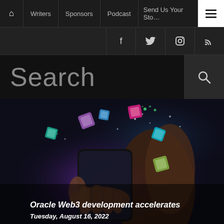Home | Writers | Sponsors | Podcast | Send Us Your Story | Menu
[Figure (screenshot): Social media icons bar: Facebook, Twitter, Instagram, RSS feed]
Search
[Figure (photo): Person holding a smartphone with colorful glowing 3D cube/block icons floating above the screen, dark background with purple/teal glowing light effects]
Oracle Web3 development accelerates
Tuesday, August 16, 2022